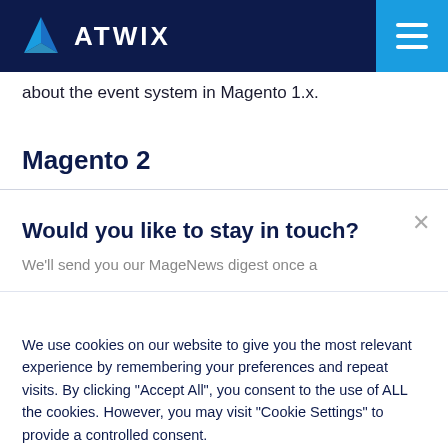[Figure (logo): Atwix logo with blue triangle icon and white ATWIX text on dark navy header, with blue hamburger menu button on right]
about the event system in Magento 1.x.
Magento 2
Would you like to stay in touch?
We'll send you our MageNews digest once a
We use cookies on our website to give you the most relevant experience by remembering your preferences and repeat visits. By clicking "Accept All", you consent to the use of ALL the cookies. However, you may visit "Cookie Settings" to provide a controlled consent.